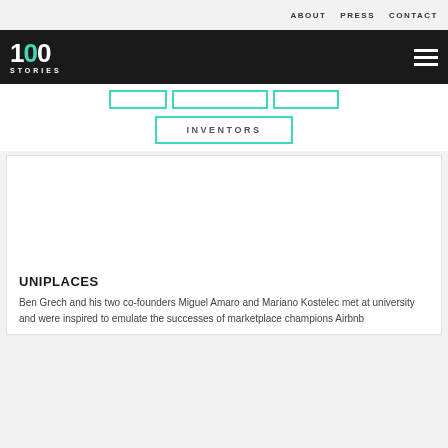ABOUT  PRESS  CONTACT
[Figure (logo): 100 STORIES logo in white on dark background with teal zero]
INVENTORS
[Figure (photo): Empty white image area for article card]
UNIPLACES
Ben Grech and his two co-founders Miguel Amaro and Mariano Kostelec met at university and were inspired to emulate the successes of marketplace champions Airbnb